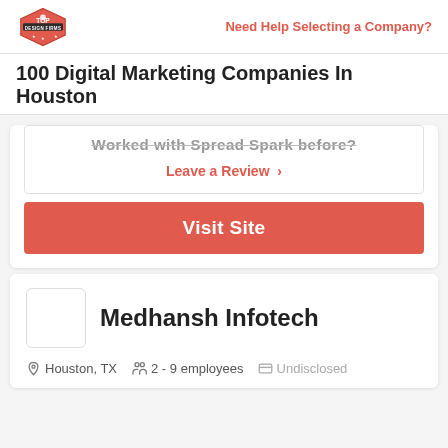Top Design Firms | Need Help Selecting a Company?
100 Digital Marketing Companies In Houston
Worked with Spread Spark before?
Leave a Review >
Visit Site
Medhansh Infotech
Houston, TX   2 - 9 employees   Undisclosed